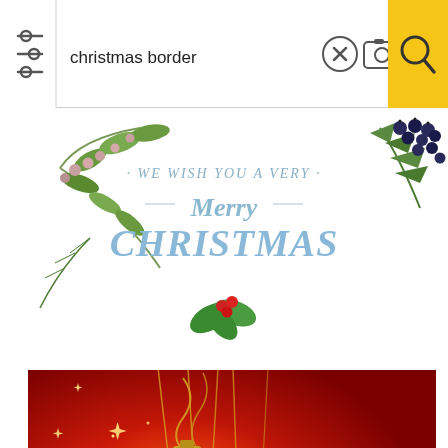[Figure (screenshot): Mobile image search interface showing search bar with 'christmas border' query, filter icon, clear button, camera icon, and yellow search button]
[Figure (illustration): Christmas border illustration with botanical elements: pine branches, berries, holly leaves, and 'We Wish You A Very Merry Christmas' text on white background]
[Figure (illustration): Red background Christmas ornament illustration showing two large golden baubles hanging with decorative ribbons and sparkle effects on deep red gradient background]